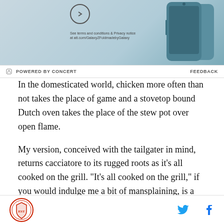[Figure (screenshot): Advertisement banner showing Samsung Galaxy Z Fold smartphone on teal/blue background with arrow navigation icon and small text]
POWERED BY CONCERT    FEEDBACK
In the domesticated world, chicken more often than not takes the place of game and a stovetop bound Dutch oven takes the place of the stew pot over open flame.
My version, conceived with the tailgater in mind, returns cacciatore to its rugged roots as it's all cooked on the grill. "It's all cooked on the grill," if you would indulge me a bit of mansplaining, is a dog whistle for "manly".
My version is not exactly traditional. It's not a stew for
Logo | Twitter | Facebook